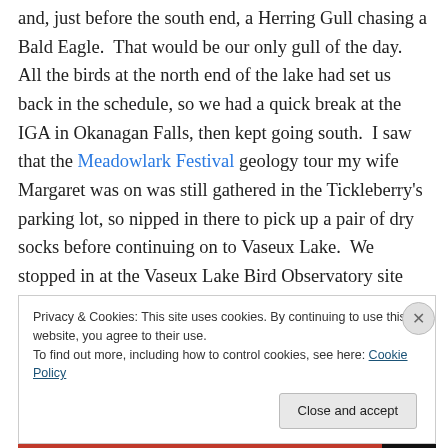and, just before the south end, a Herring Gull chasing a Bald Eagle. That would be our only gull of the day. All the birds at the north end of the lake had set us back in the schedule, so we had a quick break at the IGA in Okanagan Falls, then kept going south. I saw that the Meadowlark Festival geology tour my wife Margaret was on was still gathered in the Tickleberry's parking lot, so nipped in there to pick up a pair of dry socks before continuing on to Vaseux Lake. We stopped in at the Vaseux Lake Bird Observatory site where we'd had a Long-eared Owl a few days before. We couldn't find the
Privacy & Cookies: This site uses cookies. By continuing to use this website, you agree to their use.
To find out more, including how to control cookies, see here: Cookie Policy